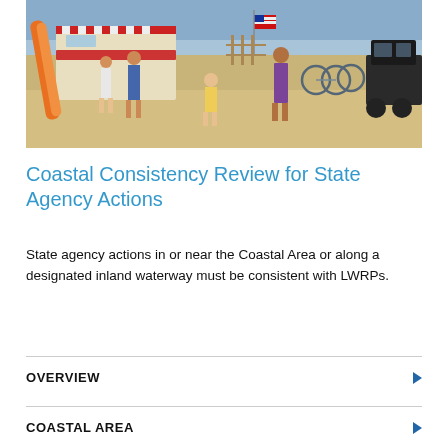[Figure (photo): Outdoor beach scene with people gathered near a food truck or vendor, surfboards visible on the left, bicycles in the background, American flag visible, sandy beach environment]
Coastal Consistency Review for State Agency Actions
State agency actions in or near the Coastal Area or along a designated inland waterway must be consistent with LWRPs.
OVERVIEW
COASTAL AREA